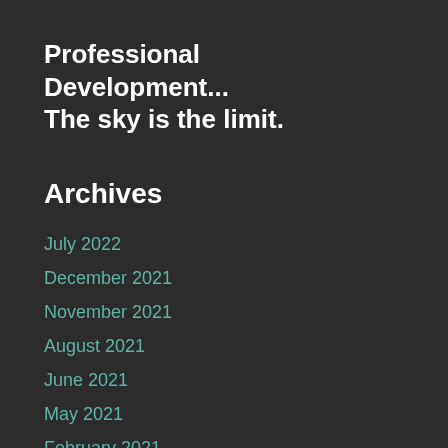Professional Development... The sky is the limit.
Archives
July 2022
December 2021
November 2021
August 2021
June 2021
May 2021
February 2021
January 2021
December 2020
November 2020
October 2020
June 2020
April 2020
March 2020